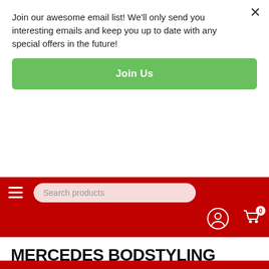Join our awesome email list! We'll only send you interesting emails and keep you up to date with any special offers in the future!
Join Us
[Figure (screenshot): Red navigation bar with hamburger menu icon, search products input field with pink/light-red background and rounded corners, user account icon, and shopping cart icon with badge showing 0]
MERCEDES BODSTYLING
Home / Bodystyling / Mercedes Bodstyling
Categories
Filters